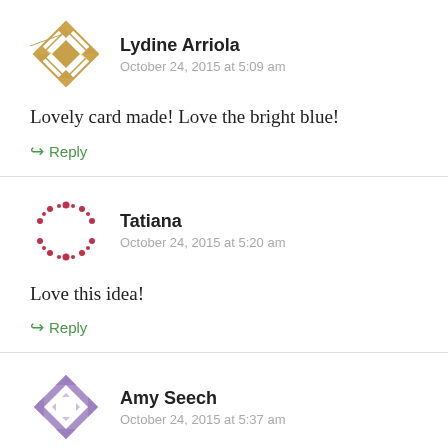[Figure (illustration): Golden/tan geometric quilt-pattern avatar icon for Lydine Arriola]
Lydine Arriola
October 24, 2015 at 5:09 am
Lovely card made! Love the bright blue!
Reply
[Figure (illustration): Pink/crimson dotted circular pattern avatar icon for Tatiana]
Tatiana
October 24, 2015 at 5:20 am
Love this idea!
Reply
[Figure (illustration): Purple and white quilt-pattern avatar icon for Amy Seech]
Amy Seech
October 24, 2015 at 5:37 am